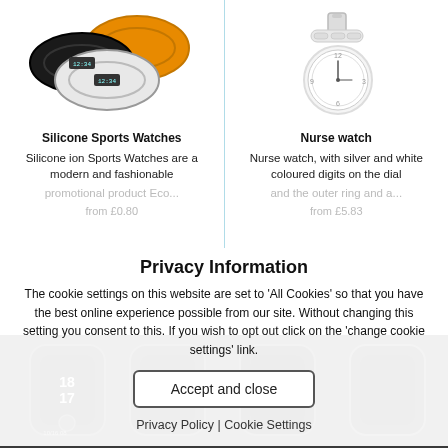[Figure (photo): Three silicone sports watches in black, white, and orange on white background]
[Figure (photo): White nurse watch with white bracelet on white background]
Silicone Sports Watches
Nurse watch
Silicone ion Sports Watches are a modern and fashionable
Nurse watch, with silver and white coloured digits on the dial
promotional product Eco...
and the outer ring and a...
from £0.80
from £5.83
[Figure (photo): Dark smartwatch devices on dark background (bottom row, partially visible)]
Privacy Information
The cookie settings on this website are set to 'All Cookies' so that you have the best online experience possible from our site. Without changing this setting you consent to this. If you wish to opt out click on the 'change cookie settings' link.
Accept and close
Privacy Policy | Cookie Settings